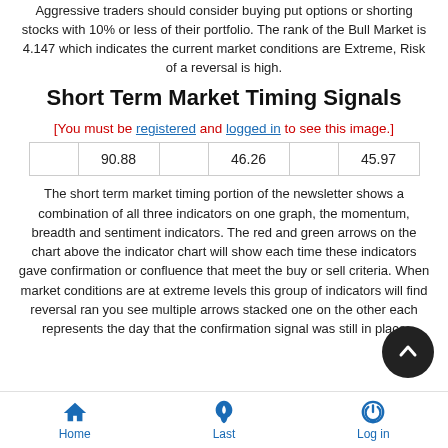Aggressive traders should consider buying put options or shorting stocks with 10% or less of their portfolio. The rank of the Bull Market is 4.147 which indicates the current market conditions are Extreme, Risk of a reversal is high.
Short Term Market Timing Signals
[You must be registered and logged in to see this image.]
|  | 90.88 |  | 46.26 |  | 45.97 |
The short term market timing portion of the newsletter shows a combination of all three indicators on one graph, the momentum, breadth and sentiment indicators. The red and green arrows on the chart above the indicator chart will show each time these indicators gave confirmation or confluence that meet the buy or sell criteria. When market conditions are at extreme levels this group of indicators will find reversal ran... you see multiple arrows stacked one on the other each... represents the day that the confirmation signal was still in place
Home  Last  Log in